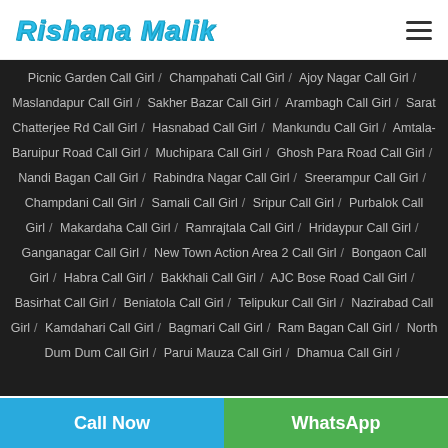Rishana Malik
Picnic Garden Call Girl / Champahati Call Girl / Ajoy Nagar Call Girl / Maslandapur Call Girl / Sakher Bazar Call Girl / Arambagh Call Girl / Sarat Chatterjee Rd Call Girl / Hasnabad Call Girl / Mankundu Call Girl / Amtala-Baruipur Road Call Girl / Muchipara Call Girl / Ghosh Para Road Call Girl / Nandi Bagan Call Girl / Rabindra Nagar Call Girl / Sreerampur Call Girl / Champdani Call Girl / Samali Call Girl / Sripur Call Girl / Purbalok Call Girl / Makardaha Call Girl / Ramrajtala Call Girl / Hridaypur Call Girl / Ganganagar Call Girl / New Town Action Area 2 Call Girl / Bongaon Call Girl / Habra Call Girl / Bakkhali Call Girl / AJC Bose Road Call Girl / Basirhat Call Girl / Beniatola Call Girl / Telipukur Call Girl / Nazirabad Call Girl / Kamdahari Call Girl / Bagmari Call Girl / Ram Bagan Call Girl / North Dum Dum Call Girl / Parui Mauza Call Girl / Dhamua Call Girl
Call Now | WhatsApp